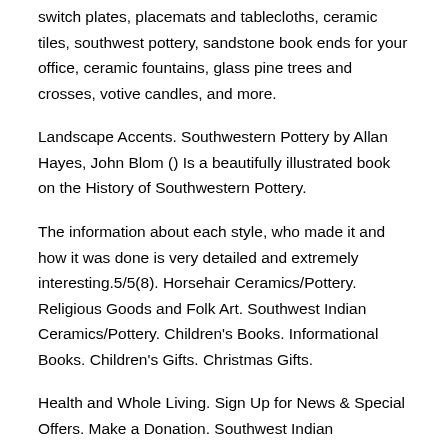switch plates, placemats and tablecloths, ceramic tiles, southwest pottery, sandstone book ends for your office, ceramic fountains, glass pine trees and crosses, votive candles, and more.
Landscape Accents. Southwestern Pottery by Allan Hayes, John Blom () Is a beautifully illustrated book on the History of Southwestern Pottery.
The information about each style, who made it and how it was done is very detailed and extremely interesting.5/5(8). Horsehair Ceramics/Pottery. Religious Goods and Folk Art. Southwest Indian Ceramics/Pottery. Children's Books. Informational Books. Children's Gifts. Christmas Gifts.
Health and Whole Living. Sign Up for News & Special Offers. Make a Donation. Southwest Indian Foundation is celebrating 50 YEARS of service.
We are very proud of the much-needed. Book Accessories Children's Books Art & Photography Books Native American Indian Pottery, Southwestern Decor, Housewarming Gift for Mom Dad romaarellano.